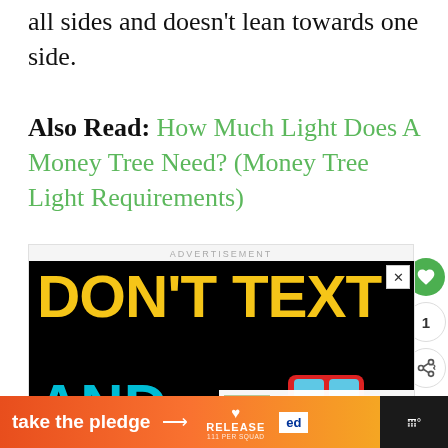all sides and doesn't lean towards one side.
Also Read: How Much Light Does A Money Tree Need? (Money Tree Light Requirements)
[Figure (screenshot): Advertisement banner showing 'DON'T TEXT AND' with a red car graphic on black background, plus a 'take the pledge' orange banner at bottom]
ADVERTISEMENT